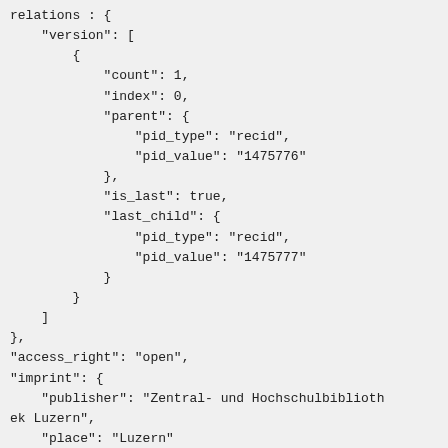relations: {
    "version": [
        {
            "count": 1,
            "index": 0,
            "parent": {
                "pid_type": "recid",
                "pid_value": "1475776"
            },
            "is_last": true,
            "last_child": {
                "pid_type": "recid",
                "pid_value": "1475777"
            }
        }
    ],
},
"access_right": "open",
"imprint": {
    "publisher": "Zentral- und Hochschulbibliothek Luzern",
    "place": "Luzern"
},
"communities": [
    {